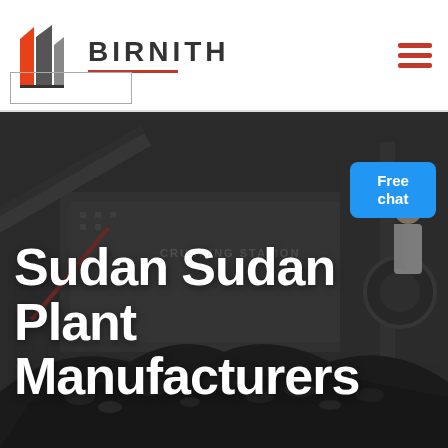BIRNITH
[Figure (photo): Industrial crushing station machine with dark gravel/coal pile in foreground, dark moody background. Heavy mining equipment with conveyor belts visible. Text 'CRUSHING STATION' on the machine.]
Sudan Sudan Plant Manufacturers